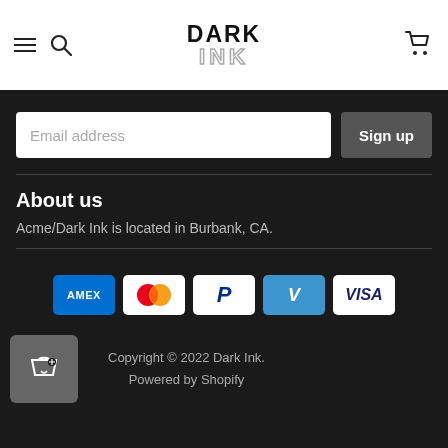DARK INK
Email address
Sign up
About us
Acme/Dark Ink is located in Burbank, CA.
[Figure (logo): Payment method icons: American Express, Mastercard, PayPal, Venmo, Visa]
[Figure (logo): Shopping bag with heart icon]
Copyright © 2022 Dark Ink.
Powered by Shopify